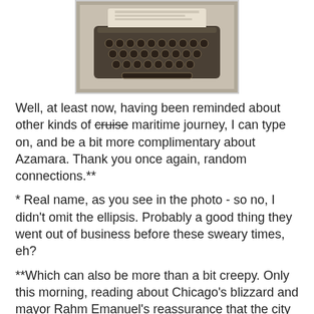[Figure (photo): Photograph of an antique typewriter viewed from above, showing the keys and carriage, displayed in what appears to be a museum setting.]
Well, at least now, having been reminded about other kinds of cruise maritime journey, I can type on, and be a bit more complimentary about Azamara. Thank you once again, random connections.**
* Real name, as you see in the photo - so no, I didn't omit the ellipsis. Probably a good thing they went out of business before these sweary times, eh?
**Which can also be more than a bit creepy. Only this morning, reading about Chicago's blizzard and mayor Rahm Emanuel's reassurance that the city can handle it, I was remembering having shaken his hand at IPW in 2014. And when I publish today's post, what does Blogger throw up at the bottom of it as a